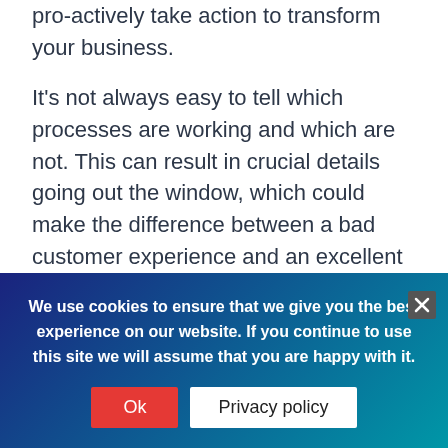pro-actively take action to transform your business.
It's not always easy to tell which processes are working and which are not. This can result in crucial details going out the window, which could make the difference between a bad customer experience and an excellent one. With Cxceed, this isn't the case any more; the reports and analytics give you all the data you need to use as a base to make important business decisions.
back to top
We use cookies to ensure that we give you the best experience on our website. If you continue to use this site we will assume that you are happy with it.
Ok
Privacy policy